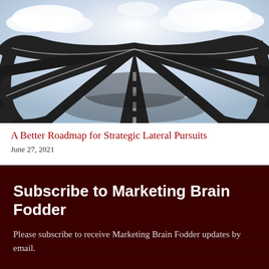[Figure (photo): Aerial view of complex intertwining roads and highways converging toward a bright vanishing point in the sky, dramatic perspective with clouds.]
A Better Roadmap for Strategic Lateral Pursuits
June 27, 2021
Subscribe to Marketing Brain Fodder
Please subscribe to receive Marketing Brain Fodder updates by email.